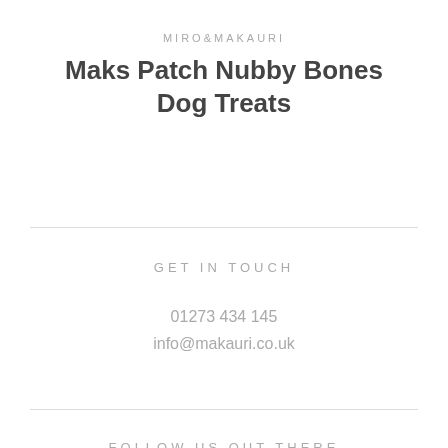MIRO&MAKAURI
Maks Patch Nubby Bones Dog Treats
GET IN TOUCH
01273 434 145
info@makauri.co.uk
FOLLOW US OUT THERE